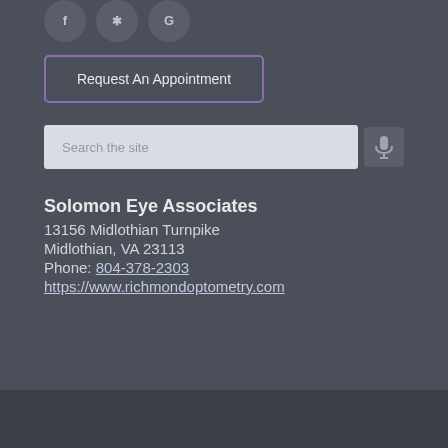[Figure (other): Three social media icon circles (Facebook, Yelp, Google) shown partially at top]
Request An Appointment
Search the site
Solomon Eye Associates
13156 Midlothian Turnpike
Midlothian, VA 23113
Phone: 804-378-2303
https://www.richmondoptometry.com
Powered by EyeCarePro.com
The materials and articles contained on this website are copyrighted and protected under Title 17 of the United States